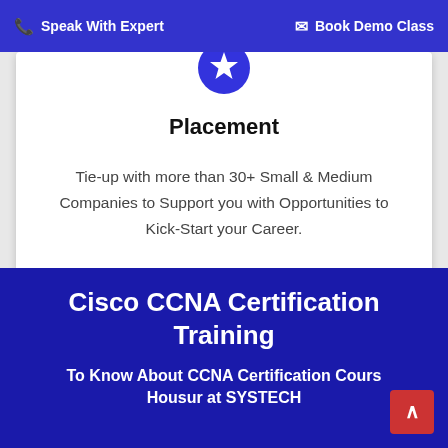📞 Speak With Expert   ✉ Book Demo Class
[Figure (illustration): Blue circular medal icon with a white star in the center and a ribbon/arc at the top]
Placement
Tie-up with more than 30+ Small & Medium Companies to Support you with Opportunities to Kick-Start your Career.
Cisco CCNA Certification Training
To Know About CCNA Certification Course Housur at SYSTECH